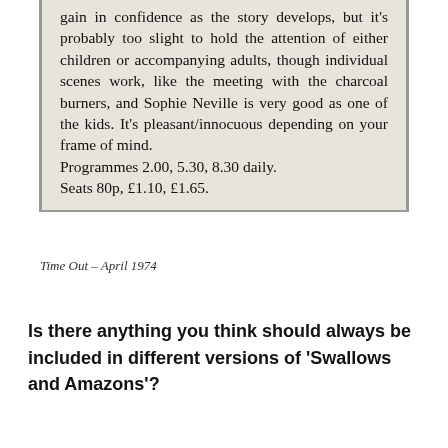[Figure (photo): Scanned newspaper clipping with text about a film review mentioning charcoal burners, Sophie Neville, programme times and seat prices, on aged beige/grey paper with left border lines.]
Time Out – April 1974
Is there anything you think should always be included in different versions of 'Swallows and Amazons'?